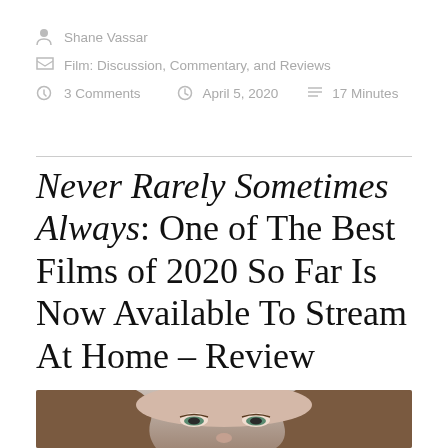Shane Vassar
Film: Discussion, Commentary, and Reviews
3 Comments   April 5, 2020   17 Minutes
Never Rarely Sometimes Always: One of The Best Films of 2020 So Far Is Now Available To Stream At Home – Review
[Figure (photo): Close-up photo of a young woman's face, cropped at the top of the page, showing eyes and upper face with hair visible.]